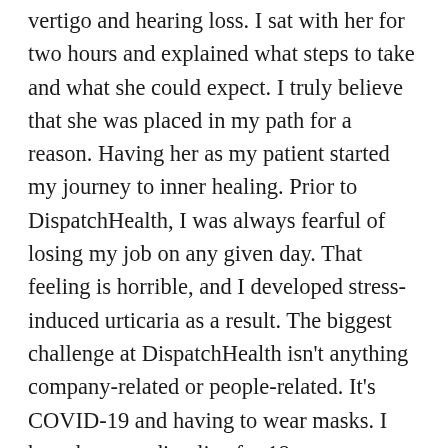vertigo and hearing loss. I sat with her for two hours and explained what steps to take and what she could expect. I truly believe that she was placed in my path for a reason. Having her as my patient started my journey to inner healing. Prior to DispatchHealth, I was always fearful of losing my job on any given day. That feeling is horrible, and I developed stress-induced urticaria as a result. The biggest challenge at DispatchHealth isn't anything company-related or people-related. It's COVID-19 and having to wear masks. I have been reading lips for 18 years now...and I have never had to learn sign language because I can read lips so well. But DispatchHealth has been understanding and helpful. They have provided clear surgical masks so that I can read my colleagues' lips. It also allows us to advocate for hearing loss when we are out in the community. Bringing awareness is so